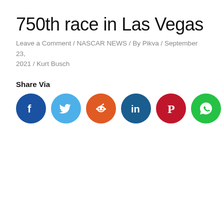750th race in Las Vegas
Leave a Comment / NASCAR NEWS / By Pikva / September 23, 2021 / Kurt Busch
Share Via
[Figure (infographic): Row of six social media share icon buttons: Facebook (blue), Twitter (light blue), Reddit (orange), LinkedIn (dark blue), Pinterest (dark red), WhatsApp (green)]